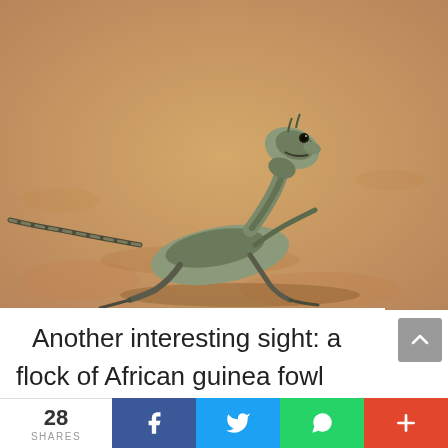[Figure (photo): A lizard (agama) posed upright on sandy/rocky ground, photographed in the wild. The lizard has a long striped tail extending to the left, scaly body, and is looking upward. Warm sandy orange-brown background.]
Another interesting sight: a flock of African guinea fowl congregating together. We learnt that these birds love
28 SHARES | Facebook | Twitter | WhatsApp | More